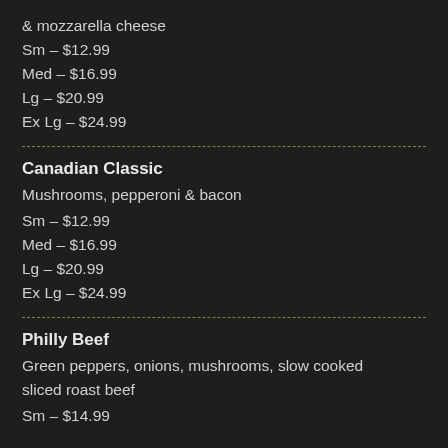& mozzarella cheese
Sm – $12.99
Med – $16.99
Lg – $20.99
Ex Lg – $24.99
Canadian Classic
Mushrooms, pepperoni & bacon
Sm – $12.99
Med – $16.99
Lg – $20.99
Ex Lg – $24.99
Philly Beef
Green peppers, onions, mushrooms, slow cooked sliced roast beef
Sm – $14.99